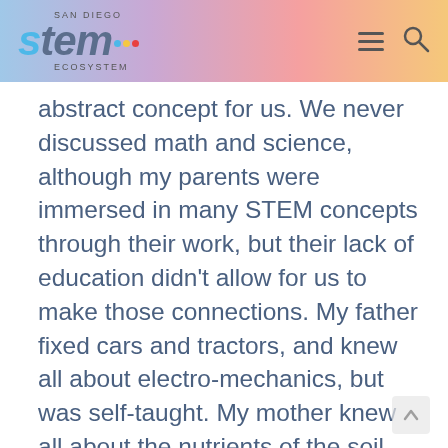[Figure (logo): San Diego STEM Ecosystem logo with colorful dots and navigation icons (hamburger menu and search)]
abstract concept for us. We never discussed math and science, although my parents were immersed in many STEM concepts through their work, but their lack of education didn't allow for us to make those connections. My father fixed cars and tractors, and knew all about electro-mechanics, but was self-taught. My mother knew all about the nutrients of the soil, and how to cultivate different fruits and vegetables, she